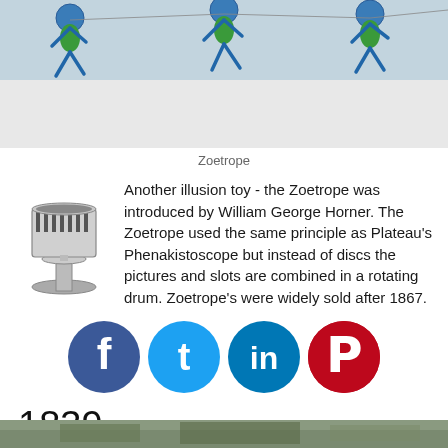[Figure (photo): Photo of zoetrope animation device with stick figures running, viewed from above on a white surface]
Zoetrope
[Figure (illustration): Vintage engraving illustration of a Zoetrope device on a pedestal]
Another illusion toy - the Zoetrope was introduced by William George Horner. The Zoetrope used the same principle as Plateau's Phenakistoscope but instead of discs the pictures and slots are combined in a rotating drum. Zoetrope's were widely sold after 1867.
[Figure (infographic): Social media sharing icons: Facebook (blue), Twitter (light blue), LinkedIn (blue), Pinterest (red)]
1839
[Figure (photo): Partial photo visible at bottom of page]